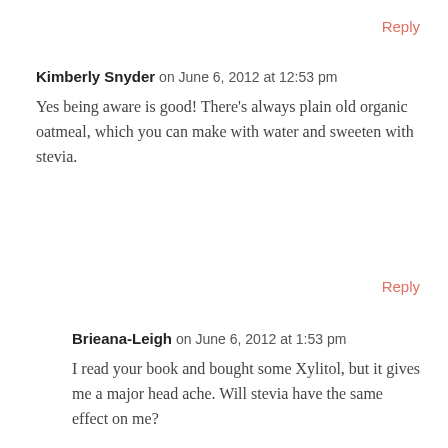Reply
Kimberly Snyder on June 6, 2012 at 12:53 pm
Yes being aware is good! There’s always plain old organic oatmeal, which you can make with water and sweeten with stevia.
Reply
Brieana-Leigh on June 6, 2012 at 1:53 pm
I read your book and bought some Xylitol, but it gives me a major head ache. Will stevia have the same effect on me?